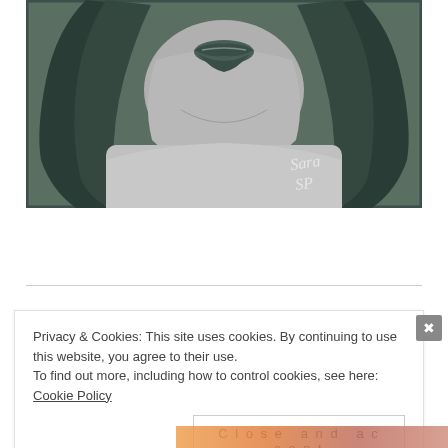[Figure (illustration): A grayscale digital illustration of a woman's face and upper body — only the lower half of the face (mouth with dark lips) is visible, with long dark flowing hair on both sides. The figure wears a light gray top. A watermark signature 'Sara SP' appears in white in the lower right of the illustration. The background is dark gray-green.]
Privacy & Cookies: This site uses cookies. By continuing to use this website, you agree to their use.
To find out more, including how to control cookies, see here: Cookie Policy
Close and accept